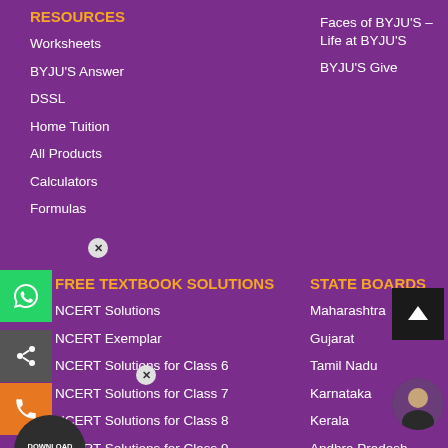RESOURCES
Worksheets
BYJU'S Answer
DSSL
Home Tuition
All Products
Calculators
Formulas
Faces of BYJU'S – Life at BYJU'S
BYJU'S Give
FREE TEXTBOOK SOLUTIONS
STATE BOARDS
NCERT Solutions
NCERT Exemplar
NCERT Solutions for Class 6
NCERT Solutions for Class 7
NCERT Solutions for Class 8
NCERT Solutions for Class 9
NCERT Solutions for Class 10
Maharashtra
Gujarat
Tamil Nadu
Karnataka
Kerala
Andhra Pradesh
Telangana